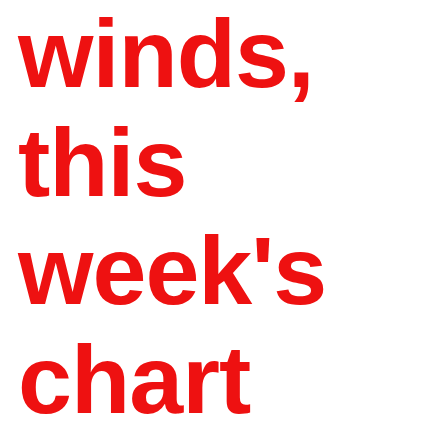winds, this week's chart topper, was the b-side of